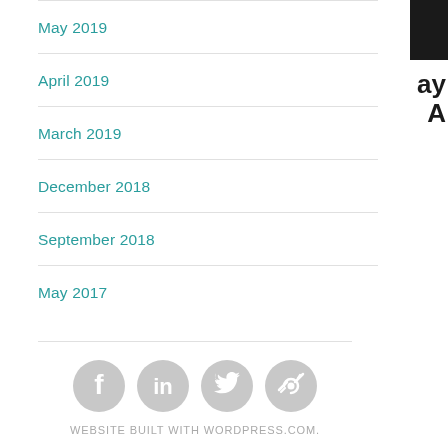May 2019
April 2019
March 2019
December 2018
September 2018
May 2017
[Figure (infographic): Social media icons: Facebook, LinkedIn, Twitter, and a link/other icon, displayed as grey circles with white symbols]
WEBSITE BUILT WITH WORDPRESS.COM.